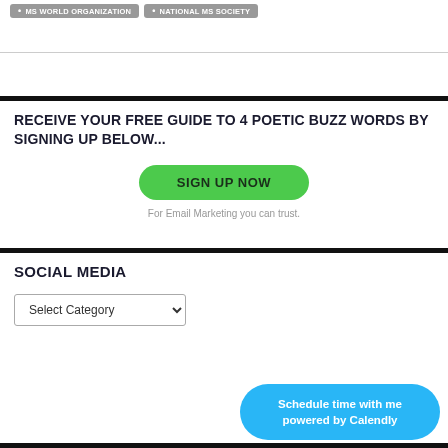MS WORLD ORGANIZATION
NATIONAL MS SOCIETY
RECEIVE YOUR FREE GUIDE TO 4 POETIC BUZZ WORDS BY SIGNING UP BELOW...
[Figure (other): Green rounded button labeled SIGN UP NOW]
For Email Marketing you can trust.
SOCIAL MEDIA
[Figure (other): Dropdown selector labeled Select Category]
[Figure (other): Blue rounded button: Schedule time with me powered by Calendly]